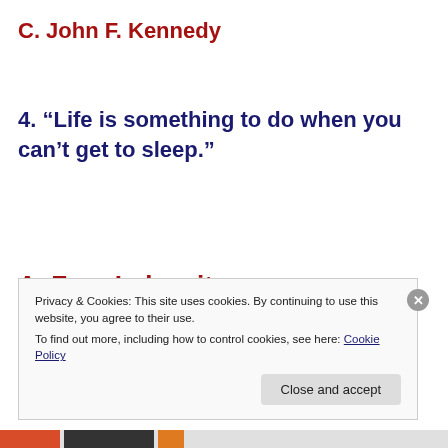C. John F. Kennedy
4. “Life is something to do when you can’t get to sleep.”
A. Fran Lebowitz
Privacy & Cookies: This site uses cookies. By continuing to use this website, you agree to their use.
To find out more, including how to control cookies, see here: Cookie Policy
Close and accept